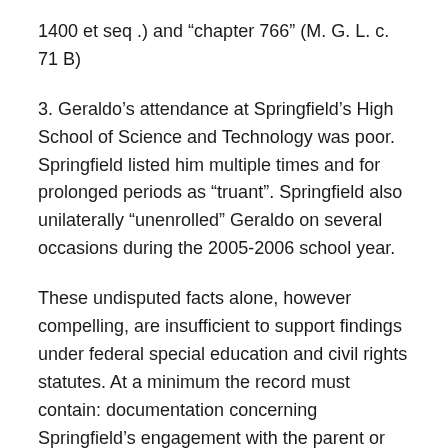1400 et seq .) and “chapter 766” (M. G. L. c. 71 B)
3. Geraldo’s attendance at Springfield’s High School of Science and Technology was poor. Springfield listed him multiple times and for prolonged periods as “truant”. Springfield also unilaterally “unenrolled” Geraldo on several occasions during the 2005-2006 school year.
These undisputed facts alone, however compelling, are insufficient to support findings under federal special education and civil rights statutes. At a minimum the record must contain: documentation concerning Springfield’s engagement with the parent or other student custodian; the response of the Springfield special education department to the lack of implementation of Geraldo’s IEP; and an explanation of the administrative spheres of responsibility for, and communication about, attendance policies applicable to minor students with disabilities in